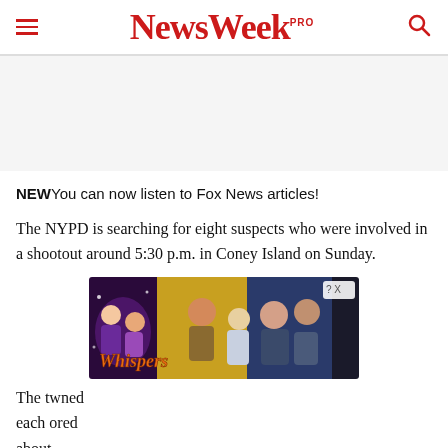NewsWeek PRO
[Figure (other): Advertisement banner (grey placeholder area)]
NEWYou can now listen to Fox News articles!
The NYPD is searching for eight suspects who were involved in a shootout around 5:30 p.m. in Coney Island on Sunday.
[Figure (other): Whispers app advertisement overlay showing romantic scenes]
The tw... ned each o... red about...